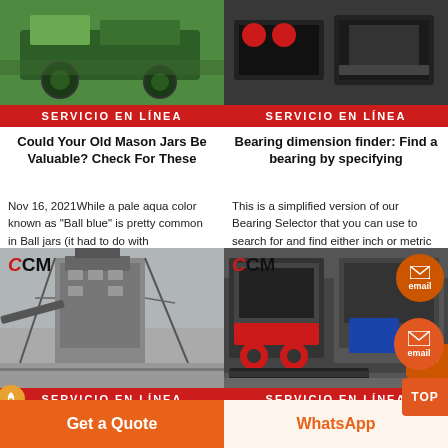[Figure (photo): Green agricultural/industrial machinery photo (top left card)]
SERVICIO EN LÍNEA
Could Your Old Mason Jars Be Valuable? Check For These
Nov 16, 2021While a pale aqua color known as "Ball blue" is pretty common in Ball jars (it had to do with
[Figure (photo): Industrial red and black equipment photo (top right card)]
SERVICIO EN LÍNEA
Bearing dimension finder: Find a bearing by specifying
This is a simplified version of our Bearing Selector that you can use to search for and find either inch or metric
[Figure (photo): CCM crusher/industrial machine photo (bottom left card)]
SERVICIO EN LÍNEA
How Many Jelly In A Jar
[Figure (photo): CCM industrial machines photo (bottom right card)]
SERVICIO EN LÍNEA
VaccinesImmunizations
Get a Quote
WhatsApp